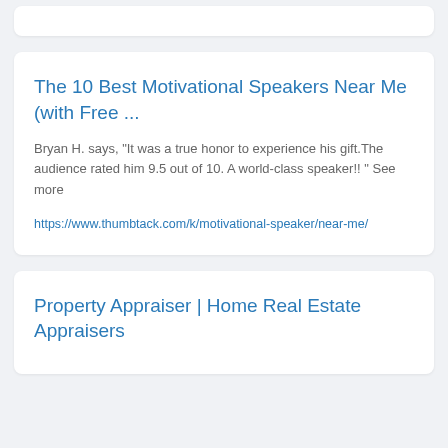The 10 Best Motivational Speakers Near Me (with Free ...
Bryan H. says, "It was a true honor to experience his gift.The audience rated him 9.5 out of 10. A world-class speaker!! " See more
https://www.thumbtack.com/k/motivational-speaker/near-me/
Property Appraiser | Home Real Estate Appraisers